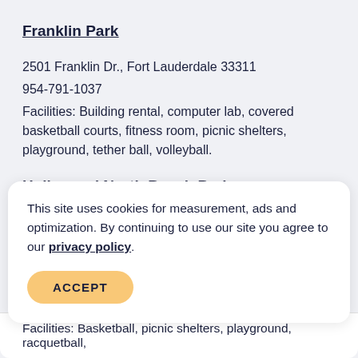Franklin Park
2501 Franklin Dr., Fort Lauderdale 33311
954-791-1037
Facilities: Building rental, computer lab, covered basketball courts, fitness room, picnic shelters, playground, tether ball, volleyball.
Hollywood North Beach Park
3601 N. Ocean Dr., Hollywood 33019
954-357-5161
Facilities: Biking/jogging/walking paths, boardwalks, Carpenter House oceanfront historical site (meetings, weddings),
This site uses cookies for measurement, ads and optimization. By continuing to use our site you agree to our privacy policy.
ACCEPT
Facilities: Basketball, picnic shelters, playground, racquetball,